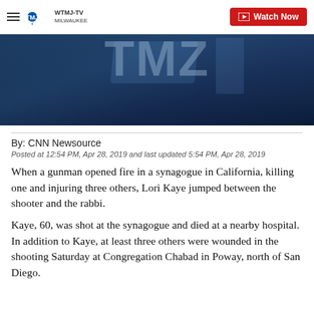WTMJ-TV MILWAUKEE | Watch Now
[Figure (screenshot): Dark blue toned video thumbnail or news broadcast image with TMZ watermark overlay]
By: CNN Newsource
Posted at 12:54 PM, Apr 28, 2019 and last updated 5:54 PM, Apr 28, 2019
When a gunman opened fire in a synagogue in California, killing one and injuring three others, Lori Kaye jumped between the shooter and the rabbi.
Kaye, 60, was shot at the synagogue and died at a nearby hospital. In addition to Kaye, at least three others were wounded in the shooting Saturday at Congregation Chabad in Poway, north of San Diego.